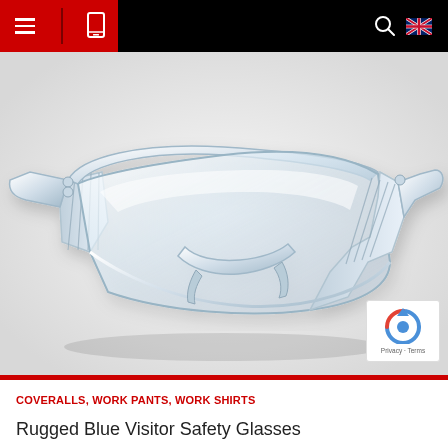Navigation bar with hamburger menu, tablet icon, search icon, UK flag
[Figure (photo): Clear transparent visitor safety glasses / protective eyewear shown at an angle on a light grey/white background. The glasses have large wrap-around polycarbonate lenses with vented side shields and a clear plastic frame.]
COVERALLS, WORK PANTS, WORK SHIRTS
Rugged Blue Visitor Safety Glasses